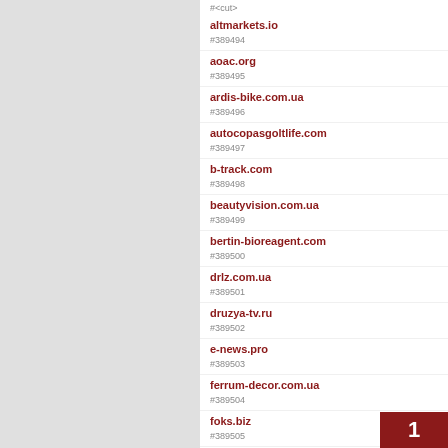#389494
altmarkets.io
#389495
aoac.org
#389496
ardis-bike.com.ua
#389497
autocopasgoltlife.com
#389498
b-track.com
#389499
beautyvision.com.ua
#389500
bertin-bioreagent.com
#389501
drlz.com.ua
#389502
druzya-tv.ru
#389503
e-news.pro
#389504
ferrum-decor.com.ua
#389505
foks.biz
1